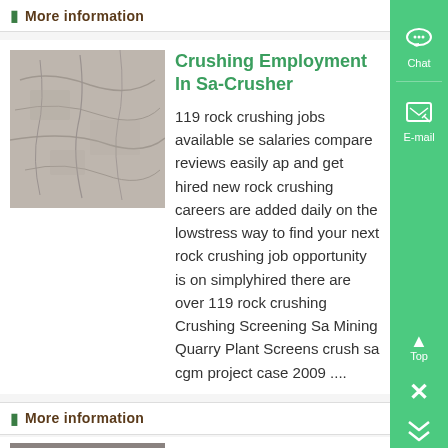More Information
Crushing Employment In Sa-Crusher
[Figure (photo): Grey stone or concrete surface texture photo]
119 rock crushing jobs available se salaries compare reviews easily ap and get hired new rock crushing careers are added daily on the lowstress way to find your next rock crushing job opportunity is on simplyhired there are over 119 rock crushing Crushing Screening Sa Mining Quarry Plant Screens crush sa cgm project case 2009 ....
More information
crushing employment in sa -
[Figure (photo): Partial thumbnail of machinery or equipment]